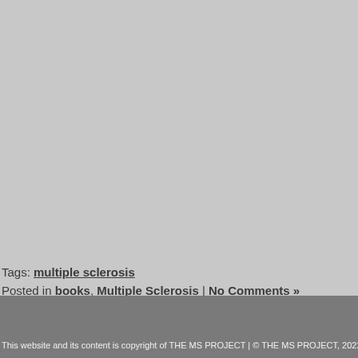Tags: multiple sclerosis
Posted in books, Multiple Sclerosis | No Comments »
This website and its content is copyright of THE MS PROJECT | © THE MS PROJECT, 2022. All right